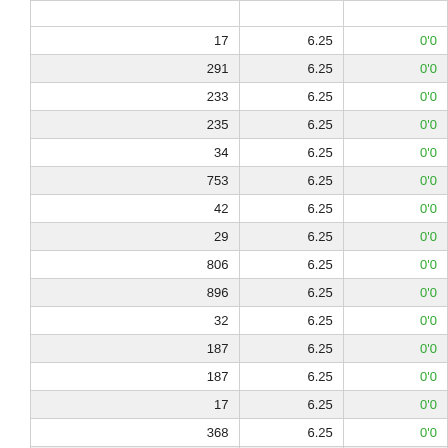|  |  |  |
| --- | --- | --- |
|  |  |  |
| 17 | 6.25 | 0'0 |
| 291 | 6.25 | 0'0 |
| 233 | 6.25 | 0'0 |
| 235 | 6.25 | 0'0 |
| 34 | 6.25 | 0'0 |
| 753 | 6.25 | 0'0 |
| 42 | 6.25 | 0'0 |
| 29 | 6.25 | 0'0 |
| 806 | 6.25 | 0'0 |
| 896 | 6.25 | 0'0 |
| 32 | 6.25 | 0'0 |
| 187 | 6.25 | 0'0 |
| 187 | 6.25 | 0'0 |
| 17 | 6.25 | 0'0 |
| 368 | 6.25 | 0'0 |
| 15 | 6.25 | 0'0 |
| 148 | 6.25 | 0'0 |